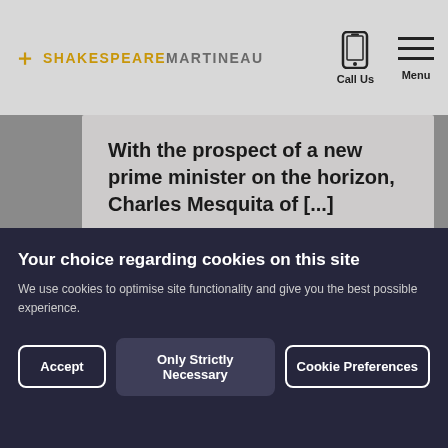[Figure (logo): Shakespeare Martineau law firm logo with gold cross symbol and gold/grey text]
[Figure (other): Mobile phone icon for Call Us navigation]
[Figure (other): Hamburger menu icon for Menu navigation]
With the prospect of a new prime minister on the horizon, Charles Mesquita of [...]
Watch >
Your choice regarding cookies on this site
We use cookies to optimise site functionality and give you the best possible experience.
Accept
Only Strictly Necessary
Cookie Preferences